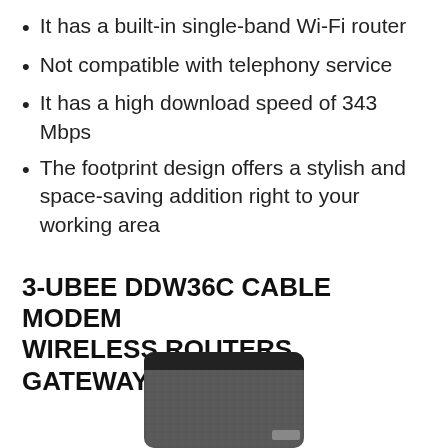It has a built-in single-band Wi-Fi router
Not compatible with telephony service
It has a high download speed of 343 Mbps
The footprint design offers a stylish and space-saving addition right to your working area
3-UBEE DDW36C CABLE MODEM WIRELESS ROUTERS GATEWAY
[Figure (photo): Photo of a dark gray/black Ubee DDW36C cable modem wireless router gateway device, shown partially at the bottom of the page]